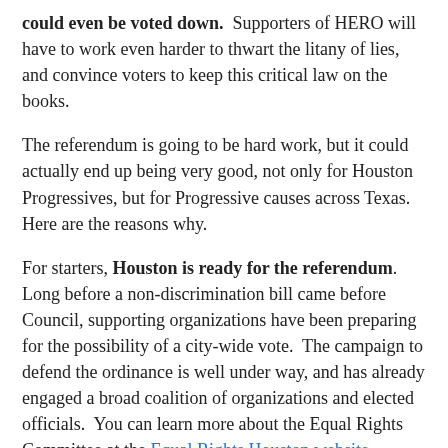could even be voted down. Supporters of HERO will have to work even harder to thwart the litany of lies, and convince voters to keep this critical law on the books.
The referendum is going to be hard work, but it could actually end up being very good, not only for Houston Progressives, but for Progressive causes across Texas. Here are the reasons why.
For starters, Houston is ready for the referendum. Long before a non-discrimination bill came before Council, supporting organizations have been preparing for the possibility of a city-wide vote. The campaign to defend the ordinance is well under way, and has already engaged a broad coalition of organizations and elected officials. You can learn more about the Equal Rights Committee at the Equal Rights Houston website.
Secondly, as a city-specific referendum, the math is on